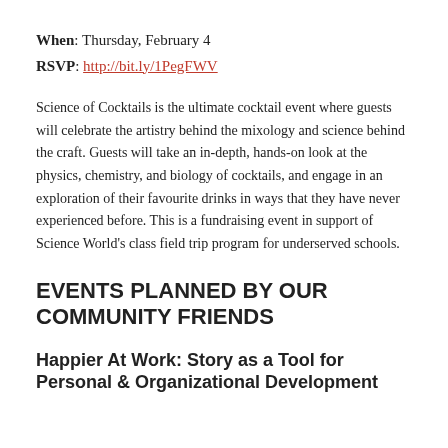When: Thursday, February 4
RSVP: http://bit.ly/1PegFWV
Science of Cocktails is the ultimate cocktail event where guests will celebrate the artistry behind the mixology and science behind the craft. Guests will take an in-depth, hands-on look at the physics, chemistry, and biology of cocktails, and engage in an exploration of their favourite drinks in ways that they have never experienced before. This is a fundraising event in support of Science World's class field trip program for underserved schools.
EVENTS PLANNED BY OUR COMMUNITY FRIENDS
Happier At Work: Story as a Tool for Personal & Organizational Development